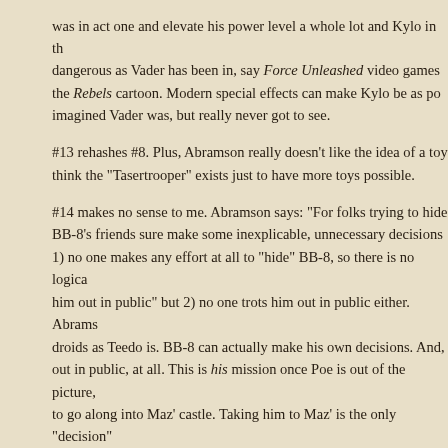was in act one and elevate his power level a whole lot and Kylo in th... dangerous as Vader has been in, say Force Unleashed video games... the Rebels cartoon. Modern special effects can make Kylo be as po... imagined Vader was, but really never got to see.
#13 rehashes #8. Plus, Abramson really doesn't like the idea of a toy... think the "Tasertrooper" exists just to have more toys possible.
#14 makes no sense to me. Abramson says: "For folks trying to hide... BB-8's friends sure make some inexplicable, unnecessary decisions... 1) no one makes any effort at all to "hide" BB-8, so there is no logica... him out in public" but 2) no one trots him out in public either. Abrams... droids as Teedo is. BB-8 can actually make his own decisions. And, ... out in public, at all. This is his mission once Poe is out of the picture,... to go along into Maz' castle. Taking him to Maz' is the only "decision"... contention, despite the plural, and I would say, that was BB-8's decis... at best, this is BB-8 carrying... no, being the idiot ball.
#15 Finn turns out not to know Starkiller Base as well as he implied,... Leia know that they've been had?" 1) no time for that, 2) Finn turns o... legitimate plan on what to do; and Han is just being as dismissive of... has been, in balking at all, and 3) maybe radio contact at this point w... of the shield or b) reveal their location to the First Order. And, like be-